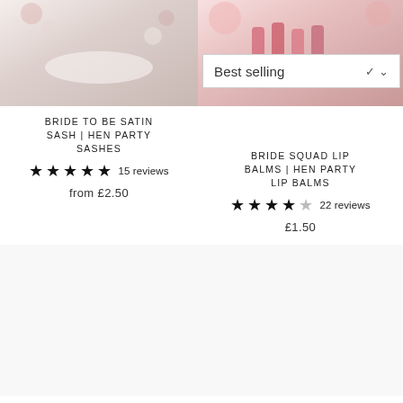[Figure (photo): Product photo of Bride To Be Satin Sash, flatlay with candles and stationery on white background]
[Figure (photo): Product photo of Bride Squad Lip Balms in pink packaging, with dropdown 'Best selling' filter visible]
BRIDE TO BE SATIN SASH | HEN PARTY SASHES
★★★★★ 15 reviews
from £2.50
BRIDE SQUAD LIP BALMS | HEN PARTY LIP BALMS
★★★★☆ 22 reviews
£1.50
[Figure (photo): Product photo of XL Hen Party Reusable Cup (white/blank area)]
[Figure (photo): Product photo of Hen Party Hair Ties (white/blank area)]
XL HEN PARTY REUSABLE CUP | HEN
HEN PARTY HAIR TIES | HEN PARTY FAVOURS